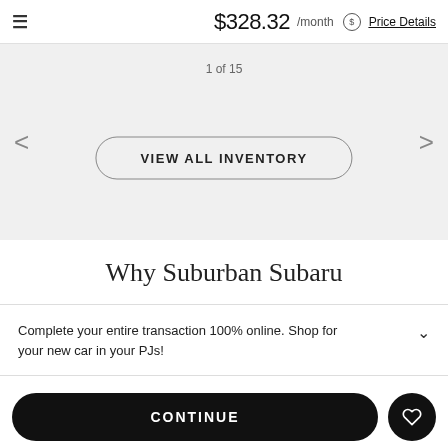$328.32 /month Price Details
1 of 15
VIEW ALL INVENTORY
Why Suburban Subaru
Complete your entire transaction 100% online. Shop for your new car in your PJs!
CONTINUE